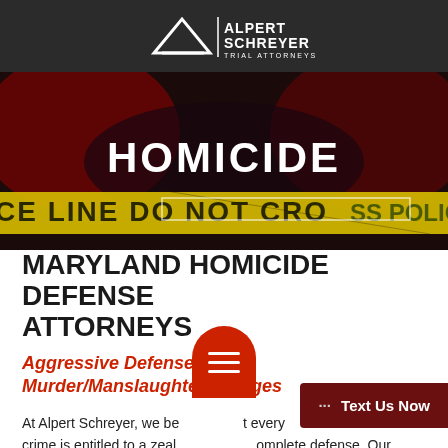Alpert Schreyer Trial Attorneys
[Figure (photo): Dark crime scene photo with police tape reading 'POLICE LINE DO NOT CROSS' with red flashing lights in background, overlaid with large white bold text 'HOMICIDE']
MARYLAND HOMICIDE DEFENSE ATTORNEYS
Aggressive Defense of Murder/Manslaughter Charges
At Alpert Schreyer, we believe every crime is entitled to a zealous and complete defense. Our